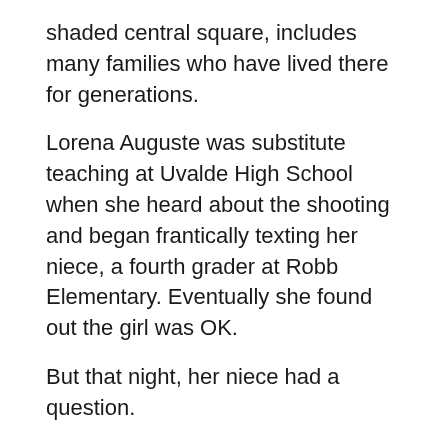shaded central square, includes many families who have lived there for generations.
Lorena Auguste was substitute teaching at Uvalde High School when she heard about the shooting and began frantically texting her niece, a fourth grader at Robb Elementary. Eventually she found out the girl was OK.
But that night, her niece had a question.
“Why did they do this to us?” the girl asked. “We’re good kids. We didn’t do anything wrong.”
——
Bleiberg reported from Dallas. Acacia Coronado, Eugene Garcia and Dario Lopez-Mills in Uvalde; Ben Fox, Michael Balsamo,